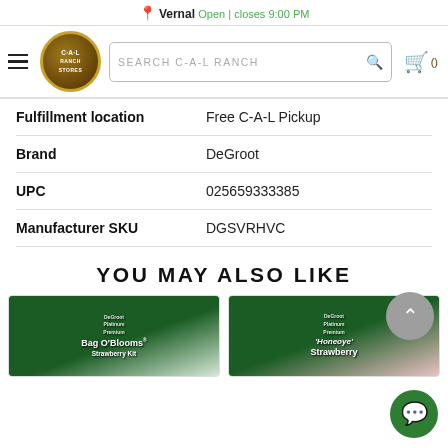Vernal Open | closes 9:00 PM
[Figure (screenshot): C-A-L Ranch Stores navigation bar with hamburger menu, logo, search bar, and cart icon]
| Label | Value |
| --- | --- |
| Fulfillment location | Free C-A-L Pickup |
| Brand | DeGroot |
| UPC | 025659333385 |
| Manufacturer SKU | DGSVRHVC |
YOU MAY ALSO LIKE
[Figure (photo): Product thumbnail: DeGroot Bag O'Blooms Strawberry Kit box on green background]
[Figure (photo): Product thumbnail: DeGroot Platinum Premium Manage Strawberry product on green background]